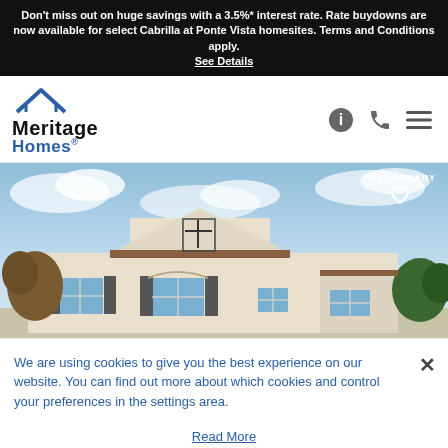Don't miss out on huge savings with a 3.5%* interest rate. Rate buydowns are now available for select Cabrilla at Ponte Vista homesites. Terms and Conditions apply. See Details
[Figure (logo): Meritage Homes logo with blue house roof icon above text]
[Figure (photo): Exterior rendering of a single-story stucco home with shuttered windows, tile roof, and blue sky background. PRELIMINARY watermark in top-right corner with heart icon.]
We are using cookies to give you the best experience on our website. You can find out more about which cookies and control your preferences in the settings area.
Read More